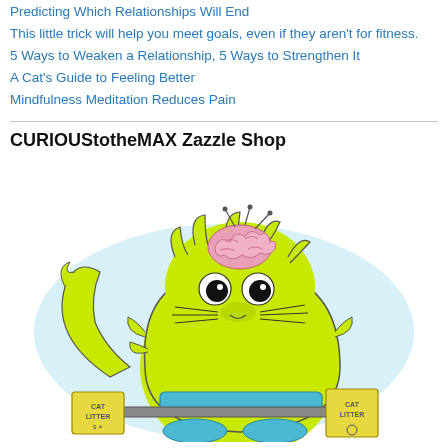Predicting Which Relationships Will End
This little trick will help you meet goals, even if they aren't for fitness.
5 Ways to Weaken a Relationship, 5 Ways to Strengthen It
A Cat's Guide to Feeling Better
Mindfulness Meditation Reduces Pain
CURIOUStotheMAX Zazzle Shop
[Figure (illustration): Cartoon illustration of a bright yellow-green fluffy cat with a pink brain visible on top of its head, large black eyes, long whiskers, wearing blue shoes and a blue belt, lifting a barbell with two yellow 'Cat Litter' weight boxes on each end. The cat is posed on a light blue oval background.]